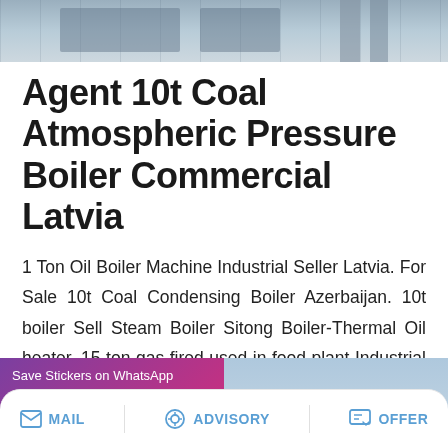[Figure (photo): Top portion of a boiler/industrial equipment image, partially cropped]
Agent 10t Coal Atmospheric Pressure Boiler Commercial Latvia
1 Ton Oil Boiler Machine Industrial Seller Latvia. For Sale 10t Coal Condensing Boiler Azerbaijan. 10t boiler Sell Steam Boiler Sitong Boiler-Thermal Oil heater. 15 ton gas fired used in food plant Industrial 20t Oil Russia H…
[Figure (screenshot): Save Stickers on WhatsApp promotional banner with WhatsApp and emoji app icons, overlaid on a boiler/industrial background image]
MAIL   ADVISORY   OFFER